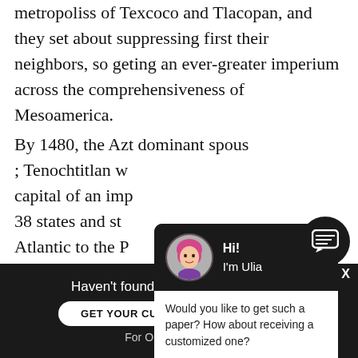metropoliss of Texcoco and Tlacopan, and they set about suppressing first their neighbors, so geting an ever-greater imperium across the comprehensiveness of Mesoamerica. By 1480, the Azt… dominant spous… ; Tenochtitlan wa… capital of an imp… 38 states and str… Atlantic to the Pa… as the old Maya … their imperium b…
[Figure (screenshot): Chat popup overlay with avatar of a woman with pink hair. Header shows 'Hi! I'm Ulia' in white text on dark background. Body shows 'Would you like to get such a paper? How about receiving a customized one?' with bold underlined link 'Check it out'.]
Haven't found the Essay You Want?
GET YOUR CUSTOM ESSAY SAMPLE
For Only $13.90/page